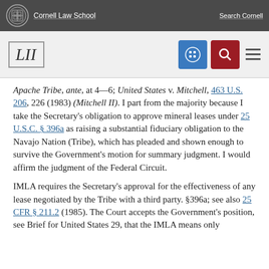Cornell Law School | Search Cornell
[Figure (logo): LII Legal Information Institute logo with Cornell Law School branding, navigation icons including a grid/apps button and search button, and hamburger menu]
Apache Tribe, ante, at 4—6; United States v. Mitchell, 463 U.S. 206, 226 (1983) (Mitchell II). I part from the majority because I take the Secretary's obligation to approve mineral leases under 25 U.S.C. § 396a as raising a substantial fiduciary obligation to the Navajo Nation (Tribe), which has pleaded and shown enough to survive the Government's motion for summary judgment. I would affirm the judgment of the Federal Circuit.
IMLA requires the Secretary's approval for the effectiveness of any lease negotiated by the Tribe with a third party. §396a; see also 25 CFR § 211.2 (1985). The Court accepts the Government's position, see Brief for United States 29, that the IMLA means only